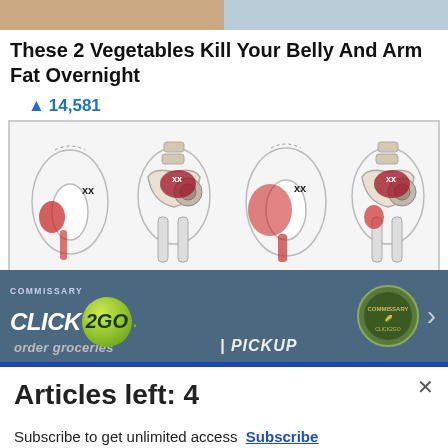[Figure (photo): Top banner showing two food images side by side]
These 2 Vegetables Kill Your Belly And Arm Fat Overnight
🔥 14,581
[Figure (illustration): Medical diagram showing four views of hip/pelvis with pain areas highlighted in red]
[Figure (screenshot): Advertisement banner for Commissary Click2Go with logo and text 'order groceries | PICKUP']
Articles left: 4
Subscribe to get unlimited access  Subscribe
Already have an account?  Login here